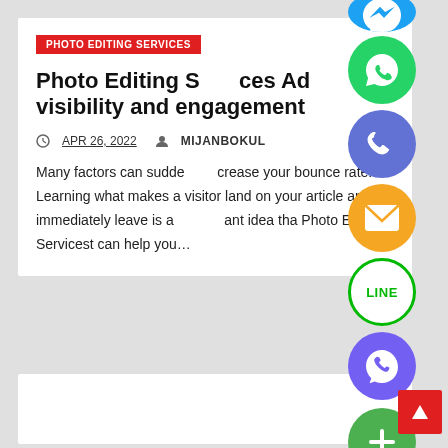PHOTO EDITING SERVICES
Photo Editing Services Ad visibility and engagement
APR 26, 2022  MIJANBOKUL
Many factors can suddenly increase your bounce rate. Learning what makes a visitor land on your article and immediately leave is an important idea tha Photo Editing Servicest can help you...
[Figure (illustration): Column of social media share buttons: Messenger (blue), WhatsApp (green), Phone/Viber (blue-purple), Email (orange), LINE (green ring), Viber (purple), green plus button]